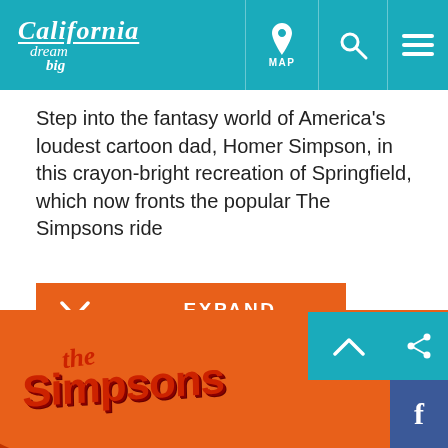California dream big — MAP [navigation icons]
Step into the fantasy world of America’s loudest cartoon dad, Homer Simpson, in this crayon-bright recreation of Springfield, which now fronts the popular The Simpsons ride
[Figure (screenshot): Orange EXPAND button with chevron arrow on the left]
[Figure (logo): The Simpsons Ride logo on orange oval badge at bottom of page]